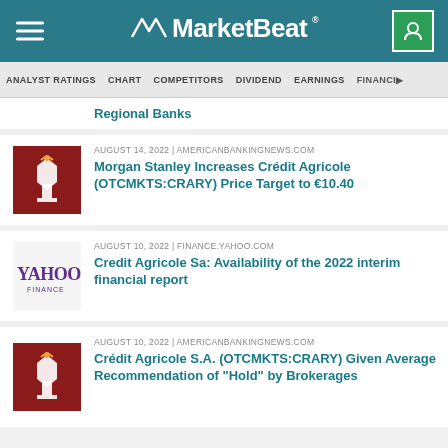MarketBeat
ANALYST RATINGS | CHART | COMPETITORS | DIVIDEND | EARNINGS | FINANCI...
Regional Banks
AUGUST 14, 2022 | AMERICANBANKINGNEWS.COM — Morgan Stanley Increases Crédit Agricole (OTCMKTS:CRARY) Price Target to €10.40
AUGUST 10, 2022 | FINANCE.YAHOO.COM — Credit Agricole Sa: Availability of the 2022 interim financial report
AUGUST 10, 2022 | AMERICANBANKINGNEWS.COM — Crédit Agricole S.A. (OTCMKTS:CRARY) Given Average Recommendation of "Hold" by Brokerages